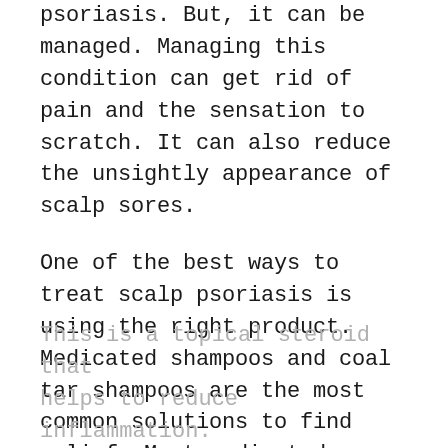psoriasis. But, it can be managed. Managing this condition can get rid of pain and the sensation to scratch. It can also reduce the unsightly appearance of scalp sores.
One of the best ways to treat scalp psoriasis is using the right product. Medicated shampoos and coal tar shampoos are the most common solutions to find relief. Most medicated shampoos contain something called ketoconazole. This is a topical steroid that helps to reduce inflammation.